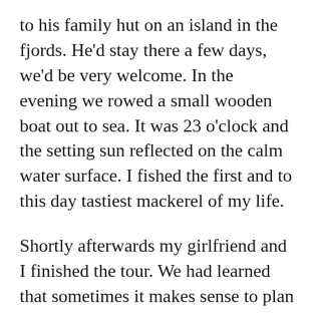to his family hut on an island in the fjords. He'd stay there a few days, we'd be very welcome. In the evening we rowed a small wooden boat out to sea. It was 23 o'clock and the setting sun reflected on the calm water surface. I fished the first and to this day tastiest mackerel of my life.
Shortly afterwards my girlfriend and I finished the tour. We had learned that sometimes it makes sense to plan big hikes carefully, to study the weather conditions carefully. The next, fully-soaked low pressure area announced itself. We gave up. My girlfriend took the ferry from Stavanger to Newcastle. She preferred to visit friends in London. I stopped in the rain, looked after the ferry, dripped a tear into a puddle and